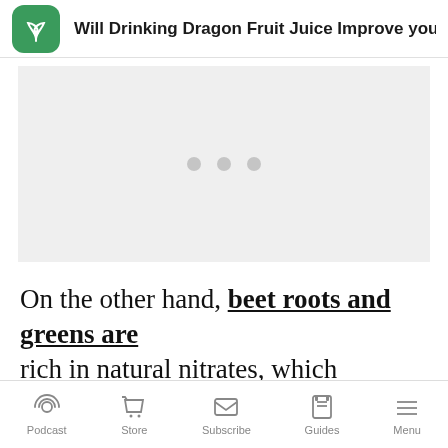Will Drinking Dragon Fruit Juice Improve your He
[Figure (other): Ad placeholder with three grey dots centered on a light grey background]
On the other hand, beet roots and greens are rich in natural nitrates, which contributes to
Podcast   Store   Subscribe   Guides   Menu